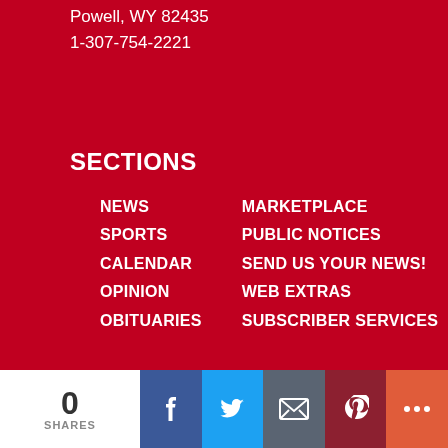Powell, WY 82435
1-307-754-2221
SECTIONS
NEWS
SPORTS
CALENDAR
OPINION
OBITUARIES
MARKETPLACE
PUBLIC NOTICES
SEND US YOUR NEWS!
WEB EXTRAS
SUBSCRIBER SERVICES
SERVICES
Advertising Rates
Contact Us
Report News
Subscribe
Order Photos
CONNECT WITH US
0 SHARES